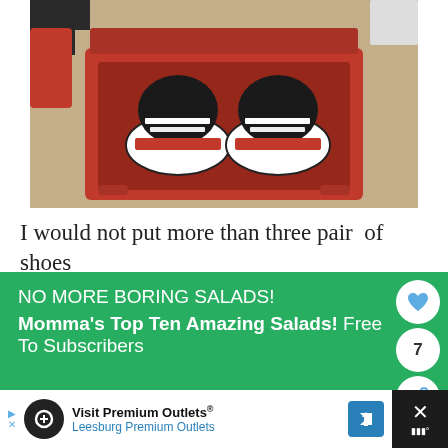[Figure (photo): Overhead view of a pair of black, white, and red sneakers inside a red fabric storage bin/box, placed on a beige carpet floor]
I would not put more than three pair  of shoes
[Figure (infographic): Green advertisement banner reading 'NO MORE BORING SALADS! Momma's Top Ten Amazing Salads! Free To Subscribers' with UI buttons for heart/like (7 count) and share]
[Figure (infographic): Bottom advertisement bar for 'Visit Premium Outlets® / Leesburg Premium Outlets' with logo, blue arrow icon, and a close/X button on dark background]